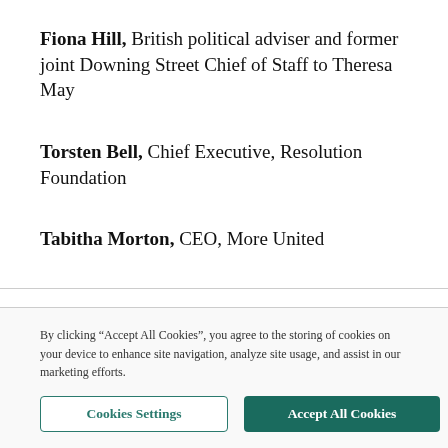Fiona Hill, British political adviser and former joint Downing Street Chief of Staff to Theresa May
Torsten Bell, Chief Executive, Resolution Foundation
Tabitha Morton, CEO, More United
By clicking “Accept All Cookies”, you agree to the storing of cookies on your device to enhance site navigation, analyze site usage, and assist in our marketing efforts.